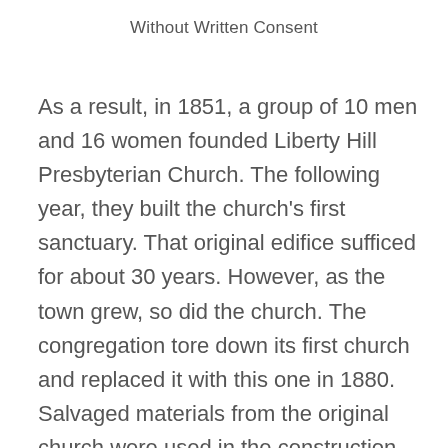Without Written Consent
As a result, in 1851, a group of 10 men and 16 women founded Liberty Hill Presbyterian Church. The following year, they built the church's first sanctuary. That original edifice sufficed for about 30 years. However, as the town grew, so did the church. The congregation tore down its first church and replaced it with this one in 1880. Salvaged materials from the original church were used in the construction of this Carpenter Gothic edifice, including the church bell that peals from the open belfry.